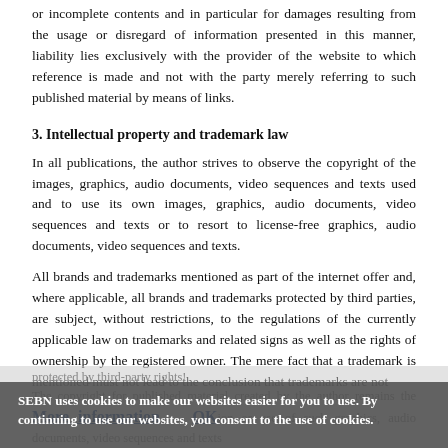or incomplete contents and in particular for damages resulting from the usage or disregard of information presented in this manner, liability lies exclusively with the provider of the website to which reference is made and not with the party merely referring to such published material by means of links.
3. Intellectual property and trademark law
In all publications, the author strives to observe the copyright of the images, graphics, audio documents, video sequences and texts used and to use its own images, graphics, audio documents, video sequences and texts or to resort to license-free graphics, audio documents, video sequences and texts.
All brands and trademarks mentioned as part of the internet offer and, where applicable, all brands and trademarks protected by third parties, are subject, without restrictions, to the regulations of the currently applicable law on trademarks and related signs as well as the rights of ownership by the registered owner. The mere fact that a trademark is mentioned must not lead to the conclusion that trademarks are not protected by third-party rights!
The copyright for published material created by the author remains the ... prohibition or use of such graphics, audio documents, video sequences and texts
SEBN uses cookies to make our websites easier for you to use. By continuing to use our websites, you consent to the use of cookies.
More information   OK